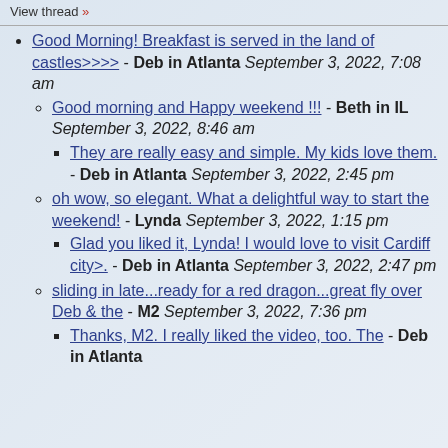View thread »
Good Morning! Breakfast is served in the land of castles>>>> - Deb in Atlanta September 3, 2022, 7:08 am
Good morning and Happy weekend !!! - Beth in IL September 3, 2022, 8:46 am
They are really easy and simple. My kids love them. - Deb in Atlanta September 3, 2022, 2:45 pm
oh wow, so elegant. What a delightful way to start the weekend! - Lynda September 3, 2022, 1:15 pm
Glad you liked it, Lynda! I would love to visit Cardiff city>. - Deb in Atlanta September 3, 2022, 2:47 pm
sliding in late...ready for a red dragon...great fly over Deb & the - M2 September 3, 2022, 7:36 pm
Thanks, M2. I really liked the video, too. The - Deb in Atlanta September 3, 2022, ...